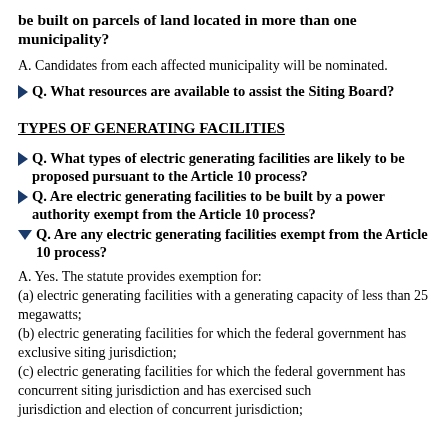be built on parcels of land located in more than one municipality?
A. Candidates from each affected municipality will be nominated.
Q. What resources are available to assist the Siting Board?
TYPES OF GENERATING FACILITIES
Q. What types of electric generating facilities are likely to be proposed pursuant to the Article 10 process?
Q. Are electric generating facilities to be built by a power authority exempt from the Article 10 process?
Q. Are any electric generating facilities exempt from the Article 10 process?
A. Yes. The statute provides exemption for:
(a) electric generating facilities with a generating capacity of less than 25 megawatts;
(b) electric generating facilities for which the federal government has exclusive siting jurisdiction;
(c) electric generating facilities for which the federal government has concurrent siting jurisdiction and has exercised such jurisdiction and election of concurrent jurisdiction;